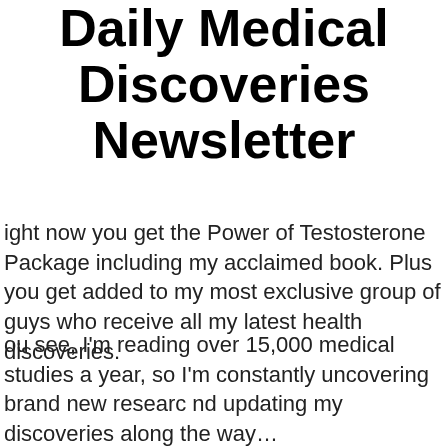Daily Medical Discoveries Newsletter
ight now you get the Power of Testosterone Package including my acclaimed book. Plus you get added to my most exclusive group of guys who receive all my latest health discoveries.
ou see, I'm reading over 15,000 medical studies a year, so I'm constantly uncovering brand new research and updating my discoveries along the way...
t first, I was just sending this new information out to a few friends... but then more and more men wanted access to these instant updates...
t now beat 325,471 men are reading my health...